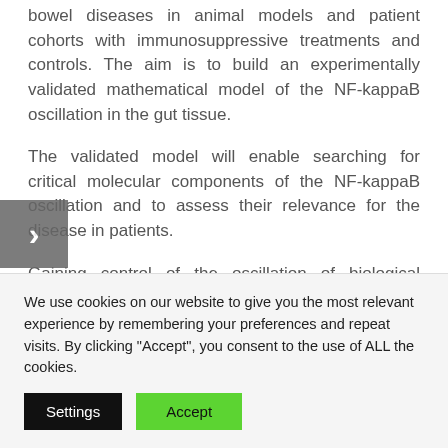bowel diseases in animal models and patient cohorts with immunosuppressive treatments and controls. The aim is to build an experimentally validated mathematical model of the NF-kappaB oscillation in the gut tissue.
The validated model will enable searching for critical molecular components of the NF-kappaB oscillation and to assess their relevance for the disease in patients.
Gaining control of the oscillation of biological pathways may provide new possibilities to influence biological
We use cookies on our website to give you the most relevant experience by remembering your preferences and repeat visits. By clicking "Accept", you consent to the use of ALL the cookies.